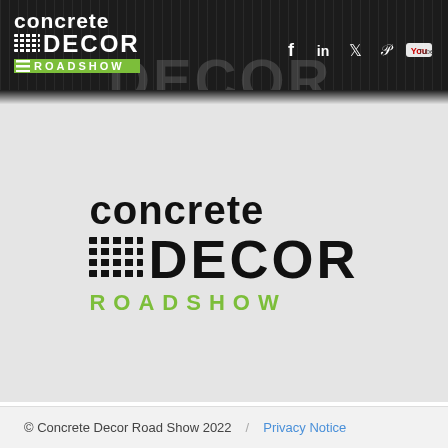concrete DECOR ROADSHOW — navigation bar with social icons: f, in, Twitter, Pinterest, YouTube
[Figure (logo): Concrete Decor Roadshow center logo with 'concrete' in black bold serif, 'DECOR' in large black sans-serif with tire tread icon, 'ROADSHOW' in green spaced capitals]
© Concrete Decor Road Show 2022  /  Privacy Notice